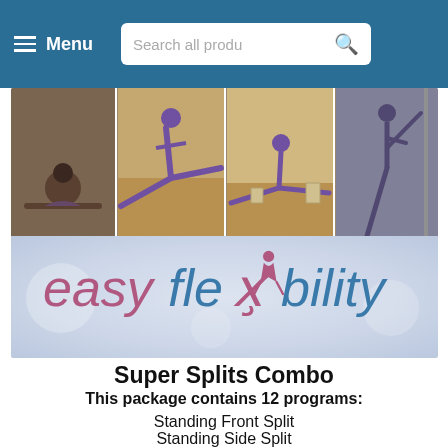≡ Menu  Search all produ 🔍
[Figure (photo): Banner image with four yoga/flexibility poses on top, and easyflexibility logo on the bottom against a light blue-grey background.]
Super Splits Combo
This package contains 12 programs:
Standing Front Split
Standing Side Split
Lord of the Dance Pose
Side Split Beginner
Side Split Intermediate
Side Split Advanced
True Front Split Beginner
True Front Split Intermediate
True Front Split Advanced